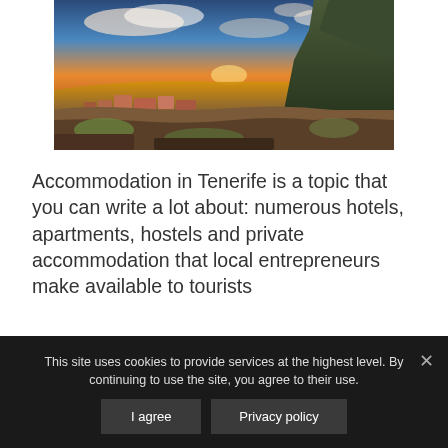[Figure (photo): Aerial/elevated view of a coastal town in Tenerife at sunset, with dramatic cliffs, orange and red rooftops, a bay with golden water, and clouds in a blue sky.]
Accommodation in Tenerife is a topic that you can write a lot about: numerous hotels, apartments, hostels and private accommodation that local entrepreneurs make available to tourists
This site uses cookies to provide services at the highest level. By continuing to use the site, you agree to their use.
I agree
Privacy policy